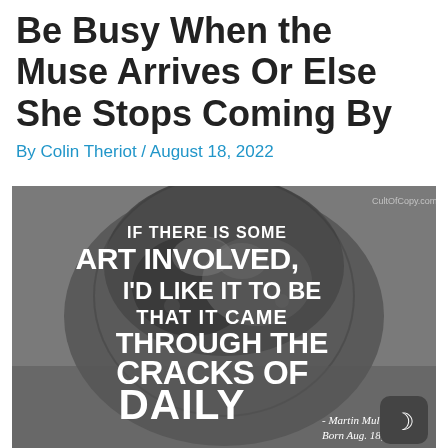Be Busy When the Muse Arrives Or Else She Stops Coming By
By Colin Theriot / August 18, 2022
[Figure (photo): Black and white photo of a man's face overlaid with bold white typography reading: 'IF THERE IS SOME ART INVOLVED, I'D LIKE IT TO BE THAT IT CAME THROUGH THE CRACKS OF DAILY [WORK...]' with attribution '- Martin Mull Born Aug. 18, 1943.' A dark rounded button with a crescent moon icon appears in the bottom right corner. CultOfCopy.com watermark in the top right.]